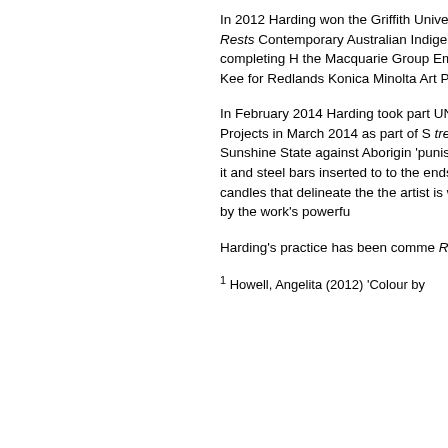In 2012 Harding won the Griffith University award for the work No Blame Rests Contemporary Australian Indigenous College of Art in 2012, completing the Macquarie Group Emerging Artist was selected by Vernon Ah Kee for Redlands Konica Minolta Art Prize.
In February 2014 Harding took part UNSW, producing a pink 'cross-stitch Projects in March 2014 as part of S tree: Queensland Crucifix reference the Sunshine State against Aborigi 'punishment tree' on Woorabinda M through it and steel bars inserted to to the ends of the metal bars and le wax pillar candles that delineate the the artist is working towards exhibit accompanied by the work's powerf
Harding's practice has been comme Richard Bell, which first aired natio
1 Howell, Angelita (2012) 'Colour by